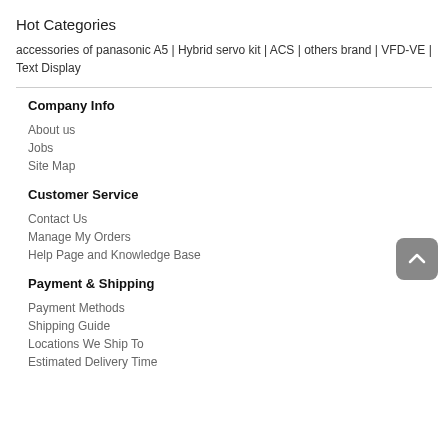Hot Categories
accessories of panasonic A5 | Hybrid servo kit | ACS | others brand | VFD-VE | Text Display
Company Info
About us
Jobs
Site Map
Customer Service
Contact Us
Manage My Orders
Help Page and Knowledge Base
Payment & Shipping
Payment Methods
Shipping Guide
Locations We Ship To
Estimated Delivery Time